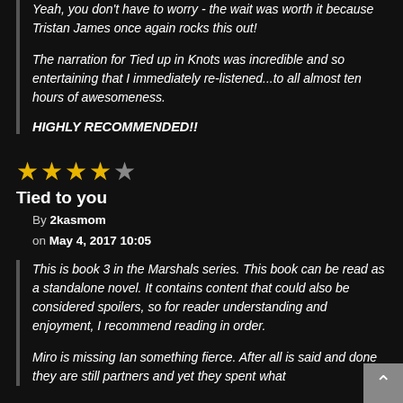Yeah, you don't have to worry - the wait was worth it because Tristan James once again rocks this out!
The narration for Tied up in Knots was incredible and so entertaining that I immediately re-listened...to all almost ten hours of awesomeness.
HIGHLY RECOMMENDED!!
Tied to you
By 2kasmom on May 4, 2017 10:05
This is book 3 in the Marshals series. This book can be read as a standalone novel. It contains content that could also be considered spoilers, so for reader understanding and enjoyment, I recommend reading in order.
Miro is missing Ian something fierce. After all is said and done they are still partners and yet they spent what